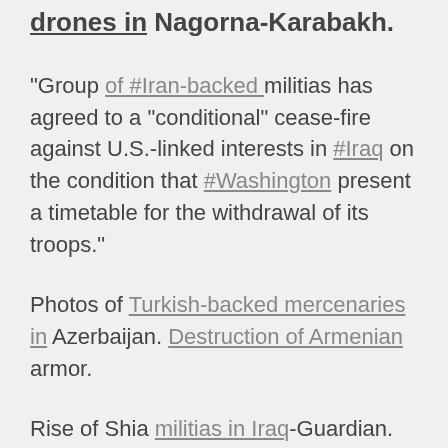drones in Nagorna-Karabakh.
"Group of #Iran-backed militias has agreed to a "conditional" cease-fire against U.S.-linked interests in #Iraq on the condition that #Washington present a timetable for the withdrawal of its troops."
Photos of Turkish-backed mercenaries in Azerbaijan. Destruction of Armenian armor.
Rise of Shia militias in Iraq-Guardian.
Iran backs Azerbaijan "Islamic" claim.
October 12